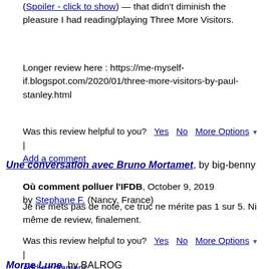(Spoiler - click to show) — that didn't diminish the pleasure I had reading/playing Three More Visitors.
Longer review here : https://me-myself-if.blogspot.com/2020/01/three-more-visitors-by-paul-stanley.html
Was this review helpful to you?  Yes  No  More Options ▾ | Add a comment
Une conversation avec Bruno Mortamet, by big-benny
Où comment polluer l'IFDB, October 9, 2019
by Stephane F. (Nancy, France)
Je ne mets pas de note, ce truc ne mérite pas 1 sur 5. Ni même de review, finalement.
Was this review helpful to you?  Yes  No  More Options ▾ | Add a comment
Morne Lune, by BALROG